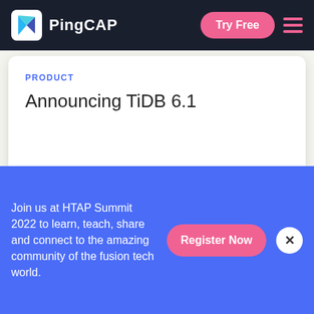PingCAP
PRODUCT
Announcing TiDB 6.1
[Figure (other): Carousel navigation controls with left arrow, filled pink dot, two empty circle dots, and right arrow]
[Figure (other): Dark navy background section]
Join us at HTAP Summit 2022 to learn, teach, share and connect to the amazing community of the fusion tech world.